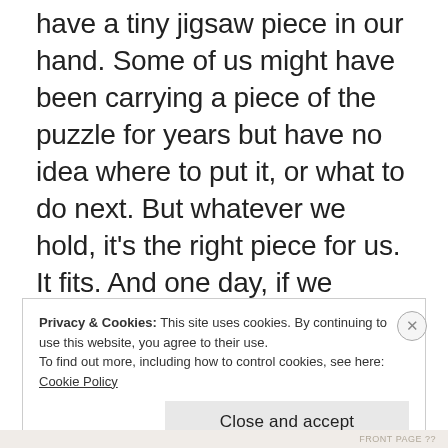have a tiny jigsaw piece in our hand. Some of us might have been carrying a piece of the puzzle for years but have no idea where to put it, or what to do next. But whatever we hold, it’s the right piece for us. It fits. And one day, if we choose, we can add it to the rest and reveal someone beyond our imagining.
Privacy & Cookies: This site uses cookies. By continuing to use this website, you agree to their use.
To find out more, including how to control cookies, see here: Cookie Policy
Close and accept